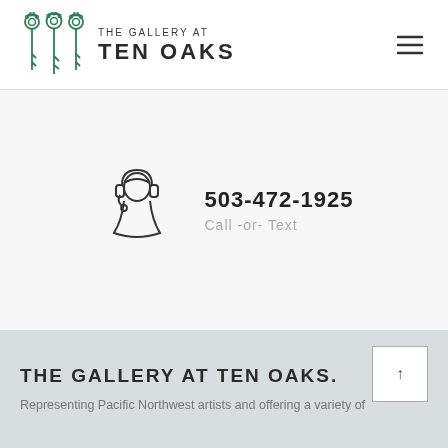[Figure (logo): The Gallery at Ten Oaks logo with three decorative key icons and text 'THE GALLERY AT TEN OAKS']
[Figure (illustration): Hamburger menu icon (three horizontal lines) in top right corner]
[Figure (illustration): Line art illustration of a customer service representative with headset]
503-472-1925
Call -or- Text
THE GALLERY AT TEN OAKS.
Representing Pacific Northwest artists and offering a variety of